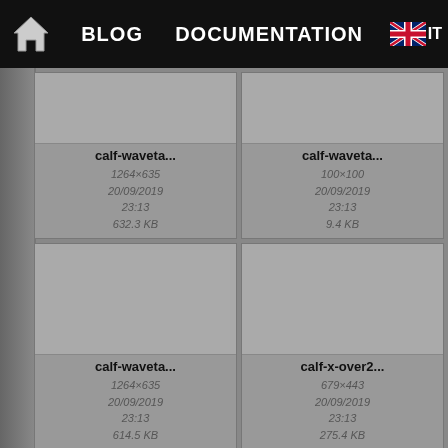BLOG  DOCUMENTATION
[Figure (screenshot): File thumbnail: calf-waveta... 1264×635 20/09/2019 23:13 632.3 KB]
[Figure (screenshot): File thumbnail: calf-waveta... 100×100 20/09/2019 23:13 9.4 KB]
[Figure (screenshot): File thumbnail: calf-waveta... 1264×635 20/09/2019 23:13 614.5 KB]
[Figure (screenshot): File thumbnail: calf-x-over2... 679×443 20/09/2019 23:13 275.4 KB]
[Figure (screenshot): File thumbnail partially visible at bottom left]
[Figure (screenshot): File thumbnail partially visible at bottom right]